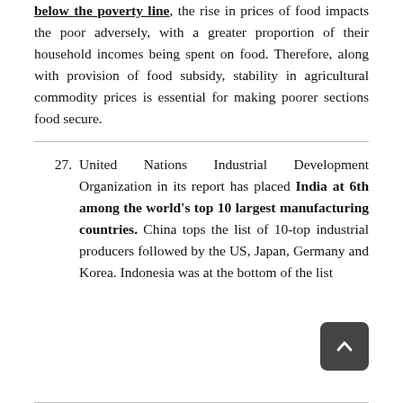below the poverty line, the rise in prices of food impacts the poor adversely, with a greater proportion of their household incomes being spent on food. Therefore, along with provision of food subsidy, stability in agricultural commodity prices is essential for making poorer sections food secure.
27. United Nations Industrial Development Organization in its report has placed India at 6th among the world's top 10 largest manufacturing countries. China tops the list of 10-top industrial producers followed by the US, Japan, Germany and Korea. Indonesia was at the bottom of the list